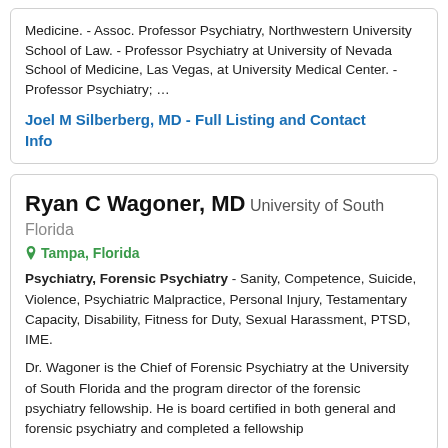Medicine. - Assoc. Professor Psychiatry, Northwestern University School of Law. - Professor Psychiatry at University of Nevada School of Medicine, Las Vegas, at University Medical Center. - Professor Psychiatry; ...
Joel M Silberberg, MD - Full Listing and Contact Info
Ryan C Wagoner, MD University of South Florida
Tampa, Florida
Psychiatry, Forensic Psychiatry - Sanity, Competence, Suicide, Violence, Psychiatric Malpractice, Personal Injury, Testamentary Capacity, Disability, Fitness for Duty, Sexual Harassment, PTSD, IME.
Dr. Wagoner is the Chief of Forensic Psychiatry at the University of South Florida and the program director of the forensic psychiatry fellowship. He is board certified in both general and forensic psychiatry and completed a fellowship